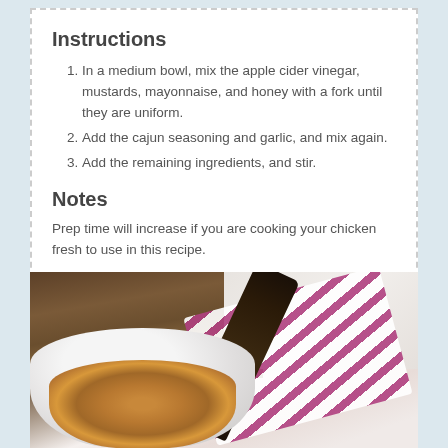Instructions
In a medium bowl, mix the apple cider vinegar, mustards, mayonnaise, and honey with a fork until they are uniform.
Add the cajun seasoning and garlic, and mix again.
Add the remaining ingredients, and stir.
Notes
Prep time will increase if you are cooking your chicken fresh to use in this recipe.
[Figure (photo): A white bowl filled with cajun chicken salad with a striped purple and white cloth napkin and dark wooden spoon beside it on a wooden surface]